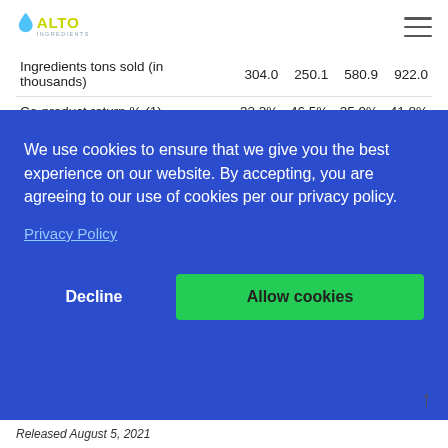Alto Ingredients
|  |  |  |  |  |
| --- | --- | --- | --- | --- |
| Ingredients tons sold (in thousands) | 304.0 | 250.1 | 580.9 | 922.0 |
| Co-product return % (1) | 32.2% | 46.5% | 35.9% | 41.8% |
(1) Essential ingredients revenue as a percentage of
We use cookies to ensure that we give you the best experience on our website. By accepting, you are agreeing to our use of cookies per our privacy policy.
Privacy Policy
Decline
Allow cookies
Released August 5, 2021